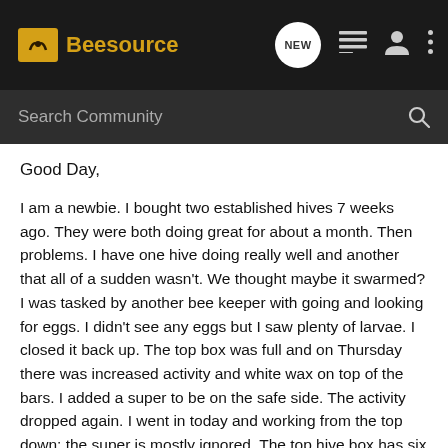Beesource
Good Day,
I am a newbie. I bought two established hives 7 weeks ago. They were both doing great for about a month. Then problems. I have one hive doing really well and another that all of a sudden wasn't. We thought maybe it swarmed? I was tasked by another bee keeper with going and looking for eggs. I didn't see any eggs but I saw plenty of larvae. I closed it back up. The top box was full and on Thursday there was increased activity and white wax on top of the bars. I added a super to be on the safe side. The activity dropped again. I went in today and working from the top down: the super is mostly ignored. The top hive box has six frames with lots of activity. However, the activity is intermittent. The other frames are mostly empty with some honey and no brood. The center 6 frames are only half full and